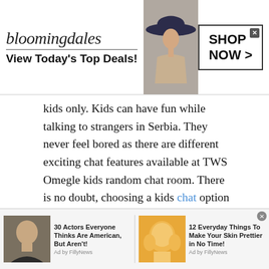[Figure (screenshot): Bloomingdale's advertisement banner: logo text 'bloomingdales', tagline 'View Today's Top Deals!', photo of woman in wide-brim hat, 'SHOP NOW >' button with close X]
kids only. Kids can have fun while talking to strangers in Serbia. They never feel bored as there are different exciting chat features available at TWS Omegle kids random chat room. There is no doubt, choosing a kids chat option can be worthwhile when it comes to building self-confidence, high self-esteem and social skills.

TWS Omegle kids option gives your kids a great chance to meet new friends online from different countries. Once kids start talking to strangers online
[Figure (screenshot): Bottom ad bar with two sponsored content items: '30 Actors Everyone Thinks Are American, But Aren't! Ad by FillyNews' with photo of bald man; '12 Everyday Things To Make Your Skin Prettier in No Time! Ad by FillyNews' with photo of woman applying face mask. Close X button top right.]